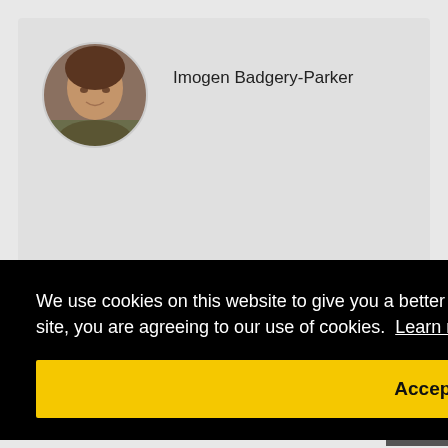[Figure (photo): Circular portrait photo of Imogen Badgery-Parker, a woman with brown hair]
Imogen Badgery-Parker
More by Imogen Badgery-Parker
[Figure (photo): Thumbnail image for article about Pygmy population estimate]
First estimate of Pygmy population reveals
We use cookies on this website to give you a better user experience. By continuing to browse the site, you are agreeing to our use of cookies. Learn more
Accept